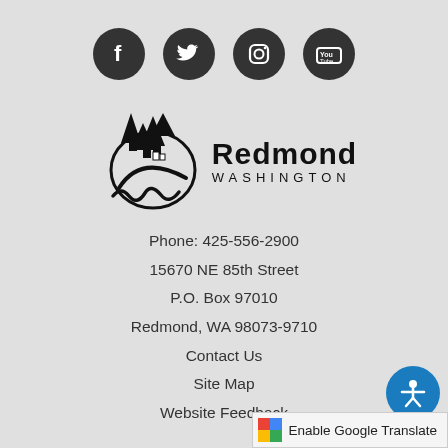[Figure (logo): Social media icons: Facebook, Twitter, Instagram, YouTube - dark circular buttons]
[Figure (logo): City of Redmond Washington logo with mountain/tree/road illustration and text 'Redmond WASHINGTON']
Phone: 425-556-2900
15670 NE 85th Street
P.O. Box 97010
Redmond, WA 98073-9710
Contact Us
Site Map
Website Feedback
[Figure (logo): Accessibility icon - white figure with arms outstretched on blue circle]
Enable Google Translate